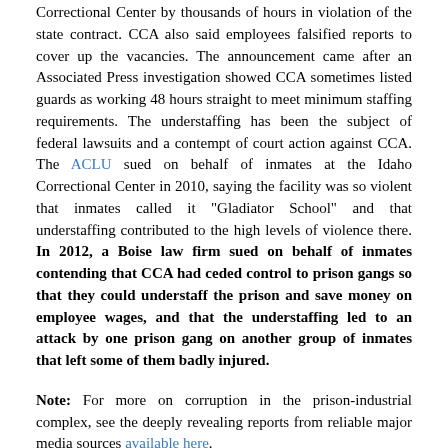Correctional Center by thousands of hours in violation of the state contract. CCA also said employees falsified reports to cover up the vacancies. The announcement came after an Associated Press investigation showed CCA sometimes listed guards as working 48 hours straight to meet minimum staffing requirements. The understaffing has been the subject of federal lawsuits and a contempt of court action against CCA. The ACLU sued on behalf of inmates at the Idaho Correctional Center in 2010, saying the facility was so violent that inmates called it "Gladiator School" and that understaffing contributed to the high levels of violence there. In 2012, a Boise law firm sued on behalf of inmates contending that CCA had ceded control to prison gangs so that they could understaff the prison and save money on employee wages, and that the understaffing led to an attack by one prison gang on another group of inmates that left some of them badly injured.
Note: For more on corruption in the prison-industrial complex, see the deeply revealing reports from reliable major media sources available here.
James Tague, key JFK assassination witness, dies